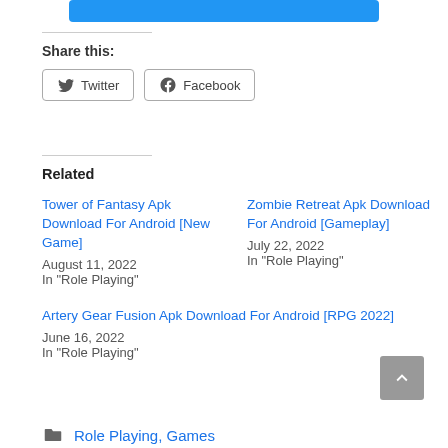Share this:
Twitter  Facebook
Related
Tower of Fantasy Apk Download For Android [New Game]
August 11, 2022
In "Role Playing"
Zombie Retreat Apk Download For Android [Gameplay]
July 22, 2022
In "Role Playing"
Artery Gear Fusion Apk Download For Android [RPG 2022]
June 16, 2022
In "Role Playing"
Role Playing, Games